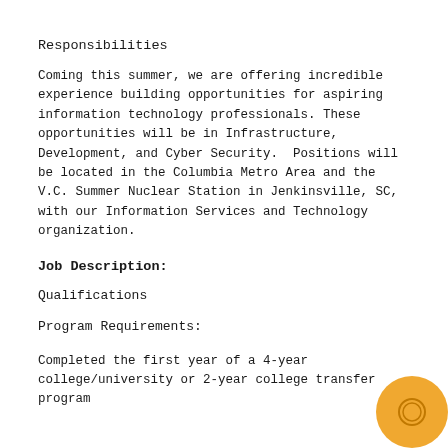Responsibilities
Coming this summer, we are offering incredible experience building opportunities for aspiring information technology professionals. These opportunities will be in Infrastructure, Development, and Cyber Security.  Positions will be located in the Columbia Metro Area and the V.C. Summer Nuclear Station in Jenkinsville, SC, with our Information Services and Technology organization.
Job Description:
Qualifications
Program Requirements:
Completed the first year of a 4-year college/university or 2-year college transfer program